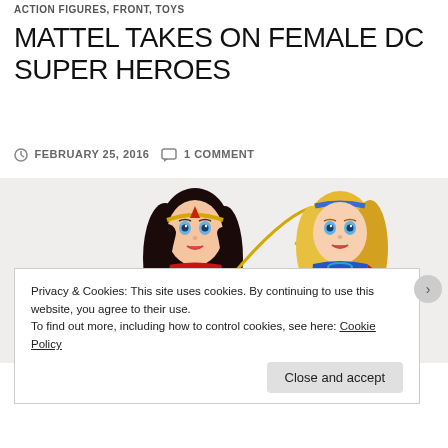ACTION FIGURES, FRONT, TOYS
MATTEL TAKES ON FEMALE DC SUPER HEROES
FEBRUARY 25, 2016   1 COMMENT
[Figure (photo): Two DC Super Hero Girls dolls: Wonder Woman (left, black hair, red and gold costume, holding lasso) and Supergirl (right, blonde hair, blue and red costume with S emblem and cape)]
Privacy & Cookies: This site uses cookies. By continuing to use this website, you agree to their use.
To find out more, including how to control cookies, see here: Cookie Policy
Close and accept